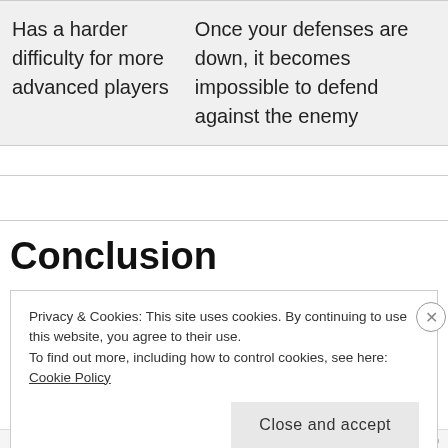| Has a harder difficulty for more advanced players | Once your defenses are down, it becomes impossible to defend against the enemy |
Conclusion
Privacy & Cookies: This site uses cookies. By continuing to use this website, you agree to their use.
To find out more, including how to control cookies, see here:
Cookie Policy
Close and accept
REPORT THIS AD